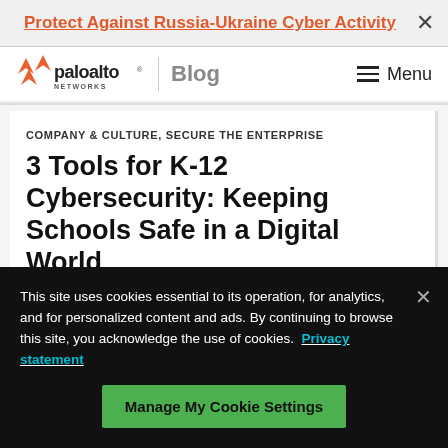Protect Against Russia-Ukraine Cyber Activity
[Figure (logo): Palo Alto Networks logo with text 'paloalto NETWORKS' and orange chevron icon, followed by 'Blog' and hamburger Menu]
COMPANY & CULTURE, SECURE THE ENTERPRISE
3 Tools for K-12 Cybersecurity: Keeping Schools Safe in a Digital World
This site uses cookies essential to its operation, for analytics, and for personalized content and ads. By continuing to browse this site, you acknowledge the use of cookies. Privacy statement
Manage My Cookie Settings